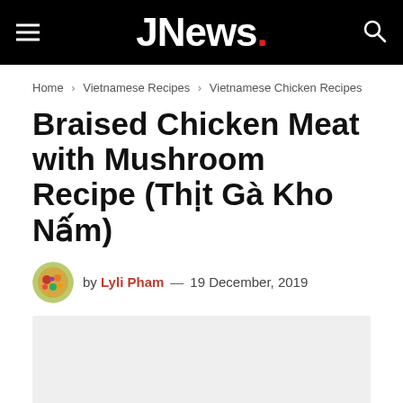JNews.
Home > Vietnamese Recipes > Vietnamese Chicken Recipes
Braised Chicken Meat with Mushroom Recipe (Thịt Gà Kho Nấm)
by Lyli Pham — 19 December, 2019
[Figure (photo): Food image placeholder area (light grey background)]